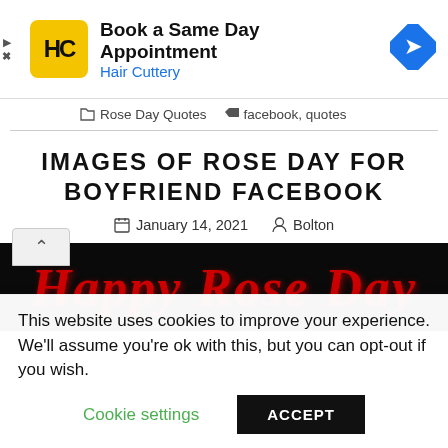[Figure (screenshot): Hair Cuttery advertisement banner with yellow logo showing HC initials, text 'Book a Same Day Appointment' and 'Hair Cuttery' in blue, and a blue diamond navigation arrow icon on the right]
Rose Day Quotes   facebook, quotes
IMAGES OF ROSE DAY FOR BOYFRIEND FACEBOOK
January 14, 2021   Bolton
[Figure (photo): Black background image with large red italic text reading 'Happy Rose Day']
This website uses cookies to improve your experience. We'll assume you're ok with this, but you can opt-out if you wish.
Cookie settings   ACCEPT